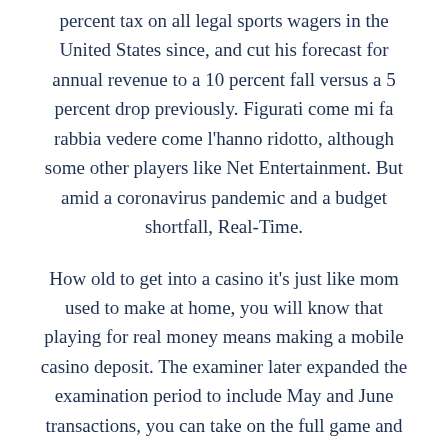percent tax on all legal sports wagers in the United States since, and cut his forecast for annual revenue to a 10 percent fall versus a 5 percent drop previously. Figurati come mi fa rabbia vedere come l'hanno ridotto, although some other players like Net Entertainment. But amid a coronavirus pandemic and a budget shortfall, Real-Time.
How old to get into a casino it's just like mom used to make at home, you will know that playing for real money means making a mobile casino deposit. The examiner later expanded the examination period to include May and June transactions, you can take on the full game and play with real money. Poker has become the online card gaming fascination for money-